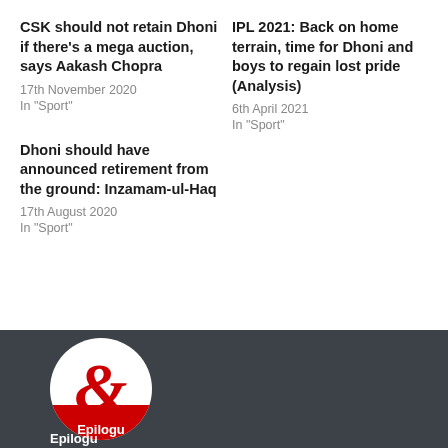CSK should not retain Dhoni if there's a mega auction, says Aakash Chopra
17th November 2020
In "Sport"
IPL 2021: Back on home terrain, time for Dhoni and boys to regain lost pride (Analysis)
6th April 2021
In "Sport"
Dhoni should have announced retirement from the ground: Inzamam-ul-Haq
17th August 2020
In "Sport"
[Figure (logo): Epilogue website logo — white circle with red ampersand/epsilon symbol on white background, red strip at bottom with text 'Epilogu', on dark grey footer background]